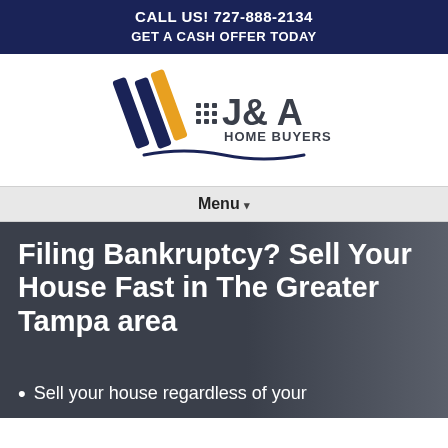CALL US! 727-888-2134
GET A CASH OFFER TODAY
[Figure (logo): J&A Home Buyers logo with diagonal stripe marks and wave underline]
Menu ▾
Filing Bankruptcy? Sell Your House Fast in The Greater Tampa area
Sell your house regardless of your